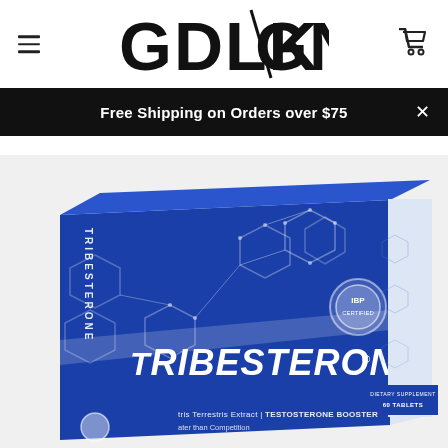GDLKGNZ
Free Shipping on Orders over $75
[Figure (photo): Product box of Tribesterone dietary supplement – blue and white box showing hexagonal molecular graphics, text TRIBESTONE, 60 Tablets, Testosterone Booster, Tribulus Terrestris Extract, Greater than Competition]